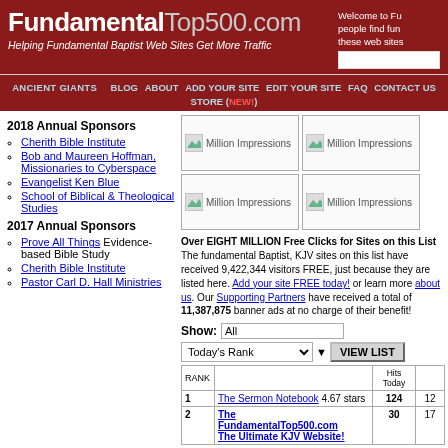FundamentalTop500.com - Helping Fundamental Baptist Web Sites Get More Traffic
Navigation: ANCIENT GIANTS | BLOG | ABOUT | ADD YOUR SITE | EDIT YOUR SITE | FAQ | CONTACT US | STORE (NEW!)
2018 Annual Sponsors
Cherith Bible Institute
Bob and Maureen Hoffman, Missionaries to Cyberspace
Evangelist Ken Blue
School of Biblical & Theological Studies
2017 Annual Sponsors
Prove All Things - Evidence-based Bible Study
Cherith Bible Institute
Pastor Carl D. Hall Ministries
[Figure (other): Four advertisement banner placeholders labeled Million Impressions]
Over EIGHT MILLION Free Clicks for Sites on this List! The fundamental Baptist, KJV sites on this list have received 9,422,344 visitors FREE, just because they are listed here. Add your site FREE today! or learn more about us. Our Supporting Partners have received a total of 11,387,875 banner ads at no charge for their benefit!
| RANK |  | Hits Today |  |
| --- | --- | --- | --- |
| 1 | The Sermon Notebook 4.67 stars | 124 | 12 |
| 2 | The FundamentalTop500.com The Ultimate KJV Website! | 30 | 17 |